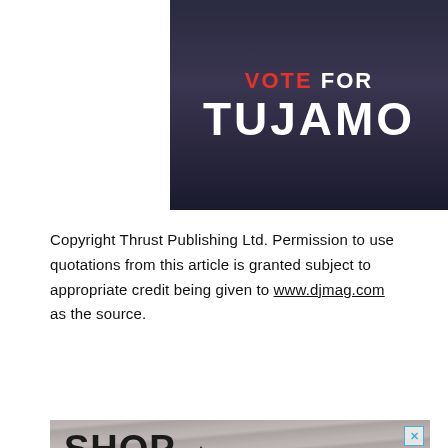[Figure (photo): Advertisement banner with dark background and a person, text reading VOTE FOR TUJAMO in red and white bold text]
Copyright Thrust Publishing Ltd. Permission to use quotations from this article is granted subject to appropriate credit being given to www.djmag.com as the source.
[Figure (photo): DJ Magazine shop advertisement showing SHOP→ text in bold over a magazine cover featuring Reinier Zonneveld]